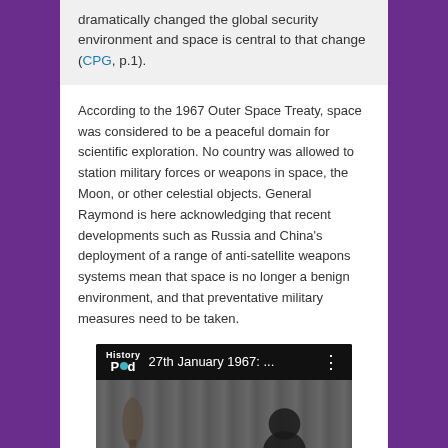dramatically changed the global security environment and space is central to that change (CPG, p.1).
According to the 1967 Outer Space Treaty, space was considered to be a peaceful domain for scientific exploration. No country was allowed to station military forces or weapons in space, the Moon, or other celestial objects. General Raymond is here acknowledging that recent developments such as Russia and China's deployment of a range of anti-satellite weapons systems mean that space is no longer a benign environment, and that preventative military measures need to be taken.
[Figure (screenshot): Video thumbnail screenshot showing a HistoryPod video titled '27th January 1967: ...' with a black and white historical photograph of figures in formal attire, appearing to be at a signing ceremony with curtains in the background.]